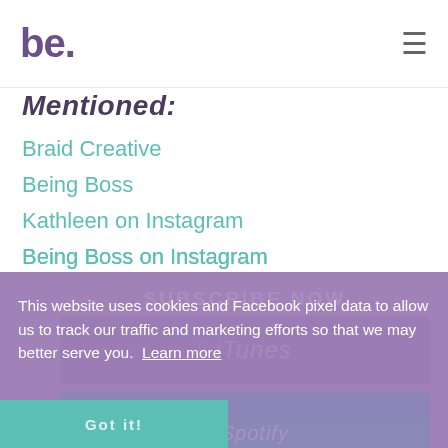be.
Mentioned:
Braid Creative
Being Boss
Kathleen on Instagram
Being Boss on Instagram
Braid Creative on Instagram
Lunar Launches
[Figure (screenshot): Cookie consent banner overlay with purple background, showing text about cookies and Facebook pixel data, with a Learn more link. Behind it are subscribe buttons: iTunes, Stitcher (with Got It button), and partial Spotify button, all with teal/purple color scheme.]
This website uses cookies and Facebook pixel data to allow us to track our traffic and marketing efforts so that we may better serve you. Learn more
SUBSCRIBE NOW
iTunes
GOT IT   STITCHER
Spotify